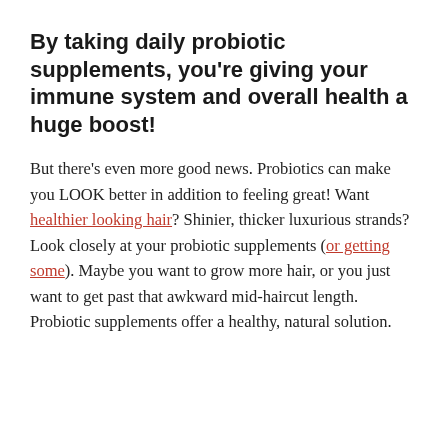By taking daily probiotic supplements, you're giving your immune system and overall health a huge boost!
But there's even more good news. Probiotics can make you LOOK better in addition to feeling great! Want healthier looking hair? Shinier, thicker luxurious strands? Look closely at your probiotic supplements (or getting some). Maybe you want to grow more hair, or you just want to get past that awkward mid-haircut length. Probiotic supplements offer a healthy, natural solution.